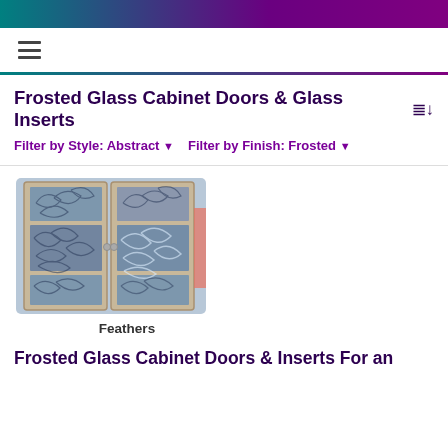Frosted Glass Cabinet Doors & Glass Inserts
Filter by Style: Abstract ▾   Filter by Finish: Frosted ▾
[Figure (photo): Photo of two frosted glass cabinet doors with an abstract feathers swirl pattern in blue and white tones, with beige/tan door frames and small round handles.]
Feathers
Frosted Glass Cabinet Doors & Inserts For an